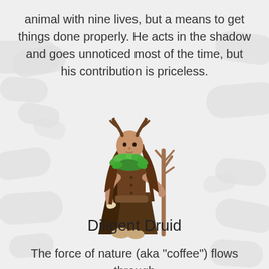animal with nine lives, but a means to get things done properly. He acts in the shadow and goes unnoticed most of the time, but his contribution is priceless.
[Figure (illustration): Illustration of the Diligent Druid character: a figure wearing antlers on their head, a green leafy collar, a brown tunic and layered skirt, holding a tall bare branch/staff in their right hand.]
Diligent Druid
The force of nature (aka "coffee") flows through